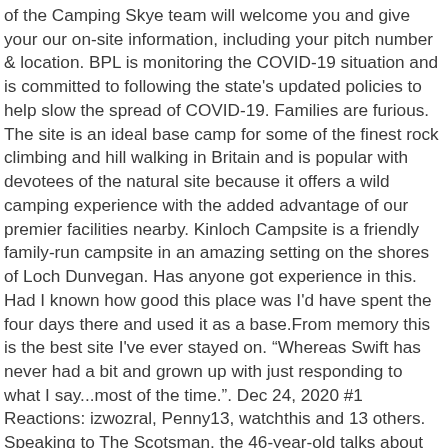of the Camping Skye team will welcome you and give your our on-site information, including your pitch number & location. BPL is monitoring the COVID-19 situation and is committed to following the state's updated policies to help slow the spread of COVID-19. Families are furious. The site is an ideal base camp for some of the finest rock climbing and hill walking in Britain and is popular with devotees of the natural site because it offers a wild camping experience with the added advantage of our premier facilities nearby. Kinloch Campsite is a friendly family-run campsite in an amazing setting on the shores of Loch Dunvegan. Has anyone got experience in this. Had I known how good this place was I'd have spent the four days there and used it as a base.From memory this is the best site I've ever stayed on. “Whereas Swift has never had a bit and grown up with just responding to what I say...most of the time.”. Dec 24, 2020 #1 Reactions: izwozral, Penny13, watchthis and 13 others. Speaking to The Scotsman, the 46-year-old talks about the kicks she gets out of her hobby, one which is not widely practised in Scotland’s wilderness. Nothing beats it.”. Our primary concern remains the safety of our visitors, our staff, and of course our local community. Posts 16,052 Likes 18,450. Mountaineering Scotland has dubbed the problem as "dirty camping" to differentiate it from wild